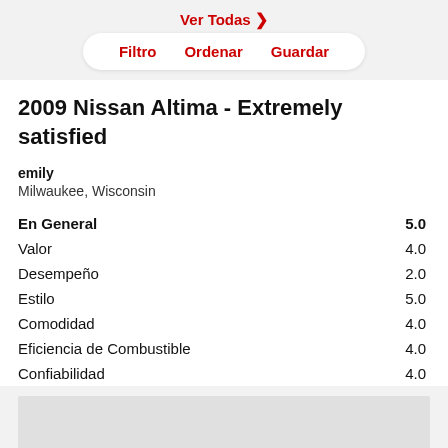Ver Todas >
Filtro   Ordenar   Guardar
2009 Nissan Altima - Extremely satisfied
emily
Milwaukee, Wisconsin
| Category | Score |
| --- | --- |
| En General | 5.0 |
| Valor | 4.0 |
| Desempeño | 2.0 |
| Estilo | 5.0 |
| Comodidad | 4.0 |
| Eficiencia de Combustible | 4.0 |
| Confiabilidad | 4.0 |
[Figure (other): Light grey rectangular box at bottom of page, appears to be an advertisement or image placeholder]